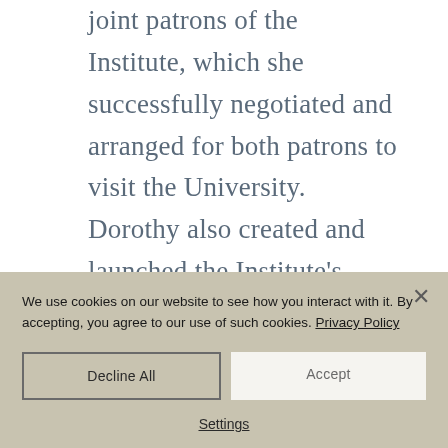joint patrons of the Institute, which she successfully negotiated and arranged for both patrons to visit the University. Dorothy also created and launched the Institute's Annual Seamus Heaney Lecture series, and organised many fundraising events.
We use cookies on our website to see how you interact with it. By accepting, you agree to our use of such cookies. Privacy Policy
Decline All
Accept
Settings